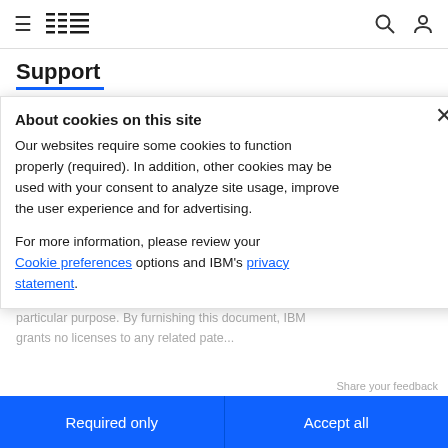IBM Support
Support
MA44738
Superseded by:........................ View fix details for PTF MF60387
Recompile.............................. N
Library.................................. QSYS
MRI Feature ........................... NONE
C5310720
About cookies on this site
Our websites require some cookies to function properly (required). In addition, other cookies may be used with your consent to analyze site usage, improve the user experience and for advertising.
For more information, please review your Cookie preferences options and IBM's privacy statement.
Required only
Accept all